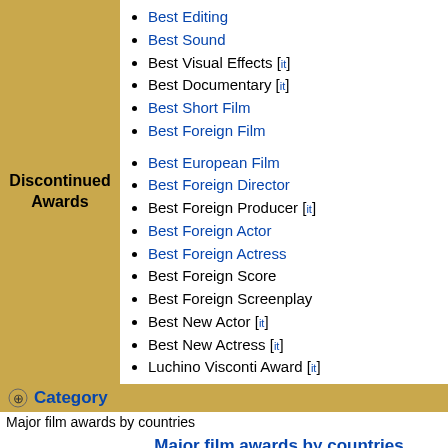Best Editing
Best Sound
Best Visual Effects [it]
Best Documentary [it]
Best Short Film
Best Foreign Film
Best European Film
Best Foreign Director
Best Foreign Producer [it]
Best Foreign Actor
Best Foreign Actress
Best Foreign Score
Best Foreign Screenplay
Best New Actor [it]
Best New Actress [it]
Luchino Visconti Award [it]
Category
Major film awards by countries
Major film awards by countries
Ghana Movie Awards (Ghana)
Africa Movie Academy Awards (Nigeria)
South African Film and Television Awards